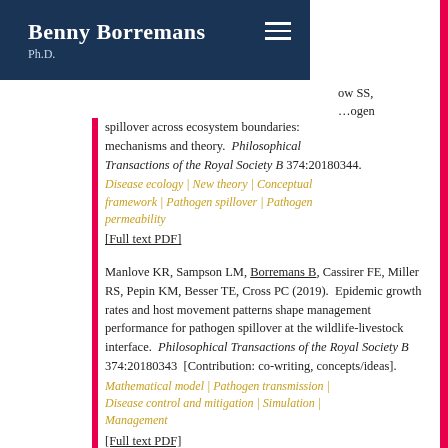Benny Borremans Ph.D.
ow SS, ... pathogen spillover across ecosystem boundaries: mechanisms and theory. Philosophical Transactions of the Royal Society B 374:20180344.
Disease ecology | New theory | Conceptual framework | Pathogen spillover | Pathogen permeability
[Full text PDF]
Manlove KR, Sampson LM, Borremans B, Cassirer FE, Miller RS, Pepin KM, Besser TE, Cross PC (2019). Epidemic growth rates and host movement patterns shape management performance for pathogen spillover at the wildlife-livestock interface. Philosophical Transactions of the Royal Society B 374:20180343 [Contribution: co-writing, concepts/ideas].
Mathematical model | Pathogen transmission | Disease control and mitigation | Simulation | Management
[Full text PDF]
Mariën J, Borremans B, Kourouma F, Jatta B, Rieger T, Günther S, Magassouba N, Leirs H,